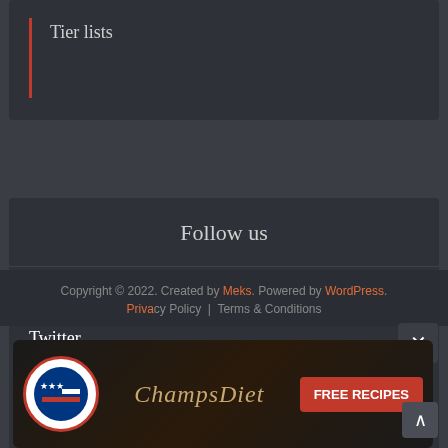Tier lists
Follow us
Facebook
Twitter
pinterest
reddit
youtube
Copyright © 2022. Created by Meks. Powered by WordPress.
Privacy Policy | Terms & Conditions
[Figure (infographic): ChampsDiet advertisement banner with logo, brand name in cursive and FREE RECIPES button]